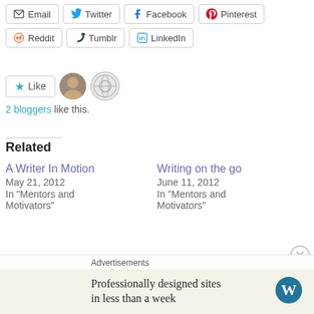[Figure (screenshot): Social share buttons row 1: Email, Twitter, Facebook, Pinterest]
[Figure (screenshot): Social share buttons row 2: Reddit, Tumblr, LinkedIn]
[Figure (screenshot): Like button with star icon, two blogger avatars]
2 bloggers like this.
Related
A Writer In Motion
May 21, 2012
In "Mentors and Motivators"
Writing on the go
June 11, 2012
In "Mentors and Motivators"
The Pen is Mightier...
March 10, 2016
In "Mentors and Motivators"
Advertisements
Professionally designed sites in less than a week